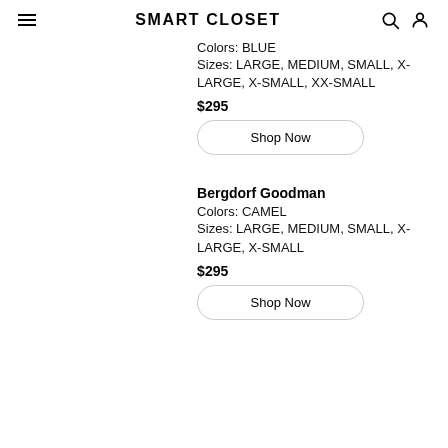SMART CLOSET
Colors: BLUE
Sizes: LARGE, MEDIUM, SMALL, X-LARGE, X-SMALL, XX-SMALL
$295
Shop Now
Bergdorf Goodman
Colors: CAMEL
Sizes: LARGE, MEDIUM, SMALL, X-LARGE, X-SMALL
$295
Shop Now